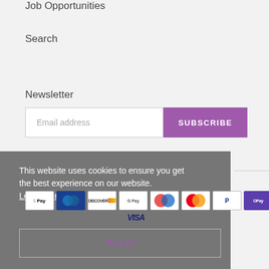Job Opportunities
Search
Newsletter
Email address
SUBSCRIBE
This website uses cookies to ensure you get the best experience on our website.
Learn More
[Figure (other): Payment method icons: Apple Pay, Diners Club, Discover, Google Pay, Maestro, Mastercard, PayPal, Samsung Pay, Visa]
Got it!